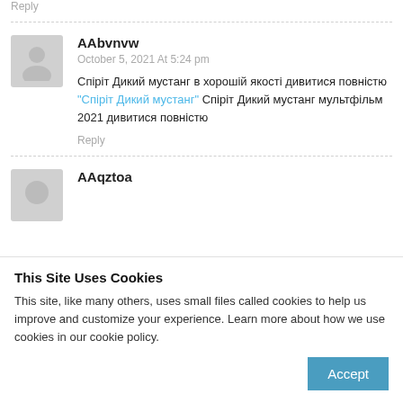Reply
[Figure (illustration): Avatar placeholder icon for user AAbvnvw]
AAbvnvw
October 5, 2021 At 5:24 pm
Спіріт Дикий мустанг в хорошій якості дивитися повністю "Спіріт Дикий мустанг" Спіріт Дикий мустанг мультфільм 2021 дивитися повністю
Reply
[Figure (illustration): Avatar placeholder icon for user AAqztoa]
AAqztoa
This Site Uses Cookies
This site, like many others, uses small files called cookies to help us improve and customize your experience. Learn more about how we use cookies in our cookie policy.